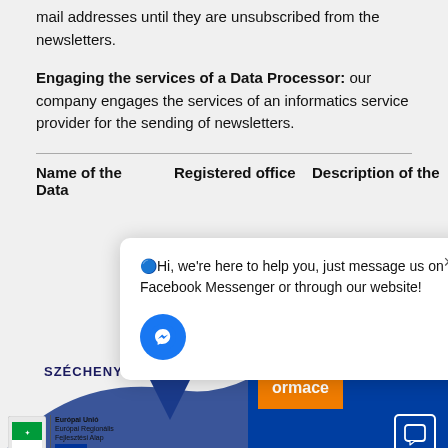Duration of data processing: our company processes e-mail addresses until they are unsubscribed from the newsletters.
Engaging the services of a Data Processor: our company engages the services of an informatics service provider for the sending of newsletters.
| Name of the Data | Registered office | Description of the |
| --- | --- | --- |
[Figure (screenshot): Chat popup overlay with Facebook Messenger icon and text: 'Hi, we're here to help you, just message us on Facebook Messenger or through our website!']
[Figure (logo): SZÉCHENYI label with Hungarian Government / EU Structural Funds (Magyarország Kormánya, Európai Unió, Európai Regionális Fejlesztési Alap, BEFEKTETÉS A JÖVŐBE) logos]
[Figure (screenshot): Blue panel on bottom right with partial text about Cookies HTTP and orange 'ormace' button, chat icon]